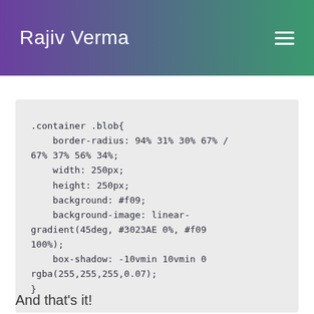Rajiv Verma
.container .blob{
    border-radius: 94% 31% 30% 67% /
67% 37% 56% 34%;
    width: 250px;
    height: 250px;
    background: #f09;
    background-image: linear-gradient(45deg, #3023AE 0%, #f09 100%);
    box-shadow: -10vmin 10vmin 0 rgba(255,255,255,0.07);
}
And that's it!